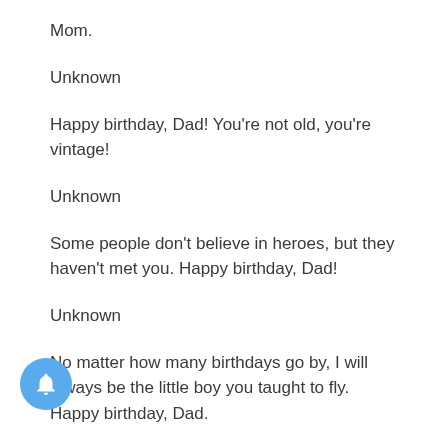Mom.
Unknown
Happy birthday, Dad! You're not old, you're vintage!
Unknown
Some people don't believe in heroes, but they haven't met you. Happy birthday, Dad!
Unknown
No matter how many birthdays go by, I will always be the little boy you taught to fly. Happy birthday, Dad.
Unknown
Dad, your birthday gift is another year of not having to pay for my